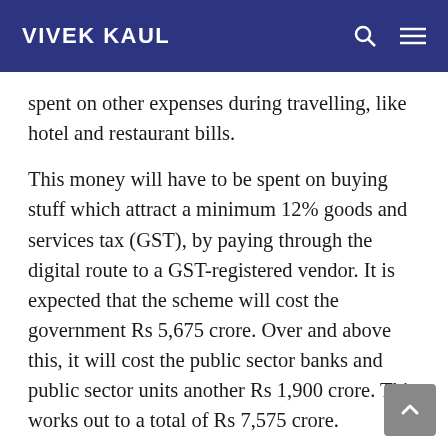VIVEK KAUL
spent on other expenses during travelling, like hotel and restaurant bills.
This money will have to be spent on buying stuff which attract a minimum 12% goods and services tax (GST), by paying through the digital route to a GST-registered vendor. It is expected that the scheme will cost the government Rs 5,675 crore. Over and above this, it will cost the public sector banks and public sector units another Rs 1,900 crore. This works out to a total of Rs 7,575 crore.